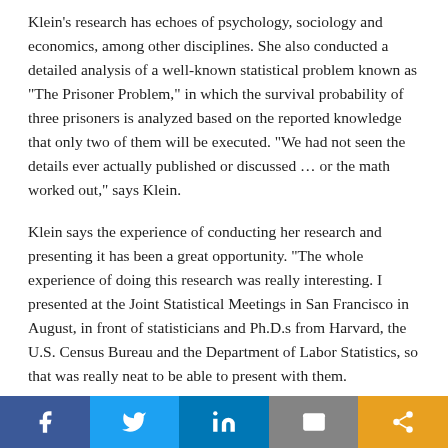Klein's research has echoes of psychology, sociology and economics, among other disciplines. She also conducted a detailed analysis of a well-known statistical problem known as "The Prisoner Problem," in which the survival probability of three prisoners is analyzed based on the reported knowledge that only two of them will be executed. "We had not seen the details ever actually published or discussed … or the math worked out," says Klein.
Klein says the experience of conducting her research and presenting it has been a great opportunity. "The whole experience of doing this research was really interesting. I presented at the Joint Statistical Meetings in San Francisco in August, in front of statisticians and Ph.D.s from Harvard, the U.S. Census Bureau and the Department of Labor Statistics, so that was really neat to be able to present with them.
"The experience of being an undergraduate at UMR and getting to do something like that was pretty amazing."